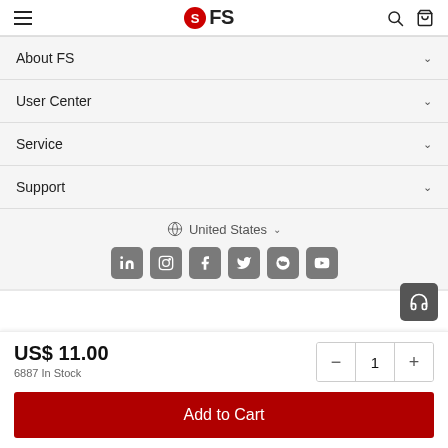FS — navigation header with hamburger menu, logo, search and cart icons
About FS
User Center
Service
Support
United States
[Figure (infographic): Social media icons: LinkedIn, Instagram, Facebook, Twitter, Reddit, YouTube]
US$ 11.00
6887 In Stock
Add to Cart